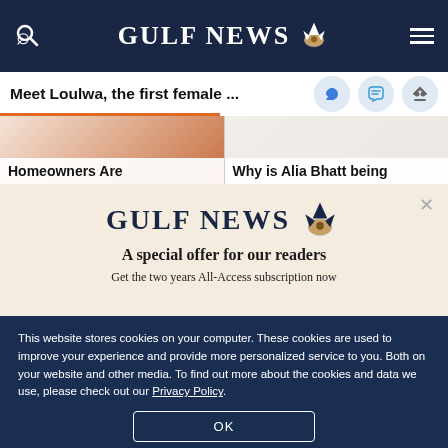GULF NEWS
Meet Loulwa, the first female ...
[Figure (screenshot): Two article thumbnail images: left shows 'Homeowners Are' partial headline, right shows 'Why is Alia Bhatt being' partial headline]
[Figure (infographic): Gulf News subscription modal with eagle logo, reading 'A special offer for our readers' and 'Get the two years All-Access subscription now']
This website stores cookies on your computer. These cookies are used to improve your experience and provide more personalized service to you. Both on your website and other media. To find out more about the cookies and data we use, please check out our Privacy Policy.